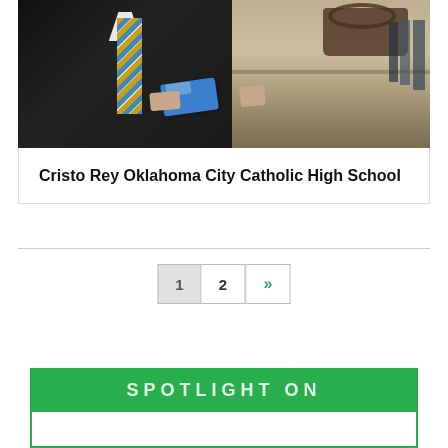[Figure (photo): A man in a dark suit with a striped blue and yellow tie, holding a blue item, with shelves and baskets visible in the background.]
Cristo Rey Oklahoma City Catholic High School
1  2  »
SPOTLIGHT ON